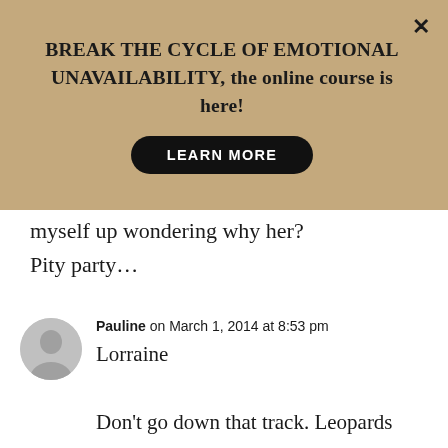[Figure (other): Banner advertisement with tan/khaki background. Title: BREAK THE CYCLE OF EMOTIONAL UNAVAILABILITY, the online course is here! with a LEARN MORE button and an X close button.]
myself up wondering why her? Pity party…
Pauline on March 1, 2014 at 8:53 pm
Lorraine
Don't go down that track. Leopards don't change their spots and however he was with you he will be the exact same